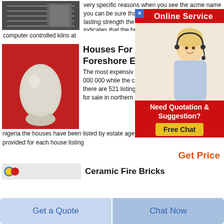[Figure (photo): Industrial/machinery photo top left]
very specific reasons when you see the acme name you can be sure that the brick are hard fired for lasting strength the presence of the acme name indicates that the brick are made from premium clay and hard fired in computer controlled kilns at
[Figure (photo): White egg-shaped ceramic object on red background]
Houses For S Foreshore Es
The most expensive 000 000 while the c there are 521 listing for sale in northern nigeria the houses have been listed by estate agents w the contact information provided for each house listing
[Figure (screenshot): Online Service advertisement overlay with woman wearing headset and chat button]
Get Price
[Figure (photo): Small icon bottom left]
Ceramic Fire Bricks
Get a Quote
Chat Now